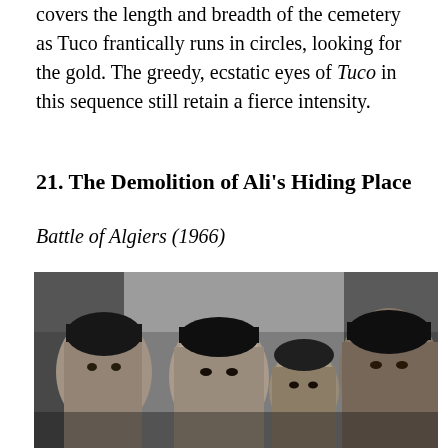covers the length and breadth of the cemetery as Tuco frantically runs in circles, looking for the gold. The greedy, ecstatic eyes of Tuco in this sequence still retain a fierce intensity.
21. The Demolition of Ali's Hiding Place
Battle of Algiers (1966)
[Figure (photo): Black and white photograph of four people (three men and one younger person) facing the camera closely, appearing to be from the film Battle of Algiers (1966).]